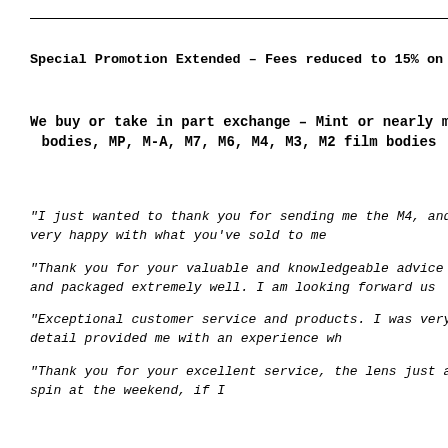Special Promotion Extended – Fees reduced to 15% on al
We buy or take in part exchange – Mint or nearly mint bodies, MP, M-A, M7, M6, M4, M3, M2 film bodies
"I just wanted to thank you for sending me the M4, and to comp very happy with what you've sold to me"
"Thank you for your valuable and knowledgeable advice during and packaged extremely well. I am looking forward us"
"Exceptional customer service and products. I was very hesita detail provided me with an experience wh"
"Thank you for your excellent service, the lens just arrived an spin at the weekend, if I"